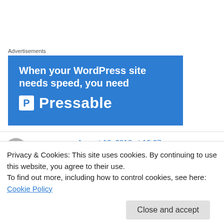Advertisements
[Figure (illustration): Blue advertisement banner for Pressable WordPress hosting. Text reads: 'When your WordPress site needs speed, you need' followed by the Pressable logo (white P icon in box) and brand name 'Pressable' in white.]
connergo on August 10, 2010 at 12:07 pm
Hi there Ole. I invite you to take another look at
Privacy & Cookies: This site uses cookies. By continuing to use this website, you agree to their use.
To find out more, including how to control cookies, see here: Cookie Policy
Close and accept
folks be marrying cuban folks left and right to get